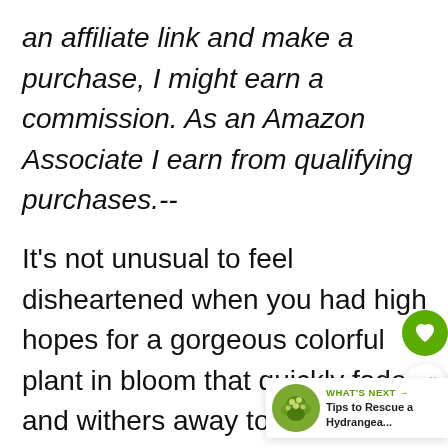an affiliate link and make a purchase, I might earn a commission. As an Amazon Associate I earn from qualifying purchases.--
It's not unusual to feel disheartened when you had high hopes for a gorgeous colorful plant in bloom that quickly fades and withers away to nothing.
If that's happened to you with a chrysanthemum (aka mums plant), you
[Figure (infographic): Two circular icon buttons on right side: a heart (favorite) icon in green circle, and a share icon in white circle with shadow. A 'What's Next' widget in bottom-right showing a circular photo of a hydrangea plant and text 'Tips to Rescue a Hydrangea...']